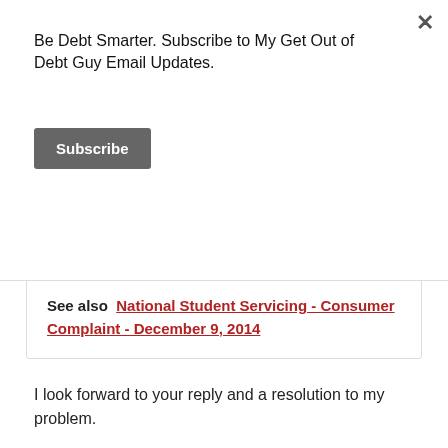Be Debt Smarter. Subscribe to My Get Out of Debt Guy Email Updates.
Subscribe
your assistance to have them stop.
See also  National Student Servicing - Consumer Complaint - December 9, 2014
I look forward to your reply and a resolution to my problem.
Consumer Action Taken:
SENT SEVERAL EMAILS AND TEXT MESSAGES